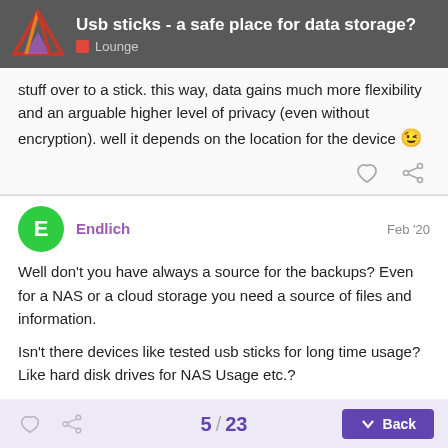Usb sticks - a safe place for data storage? | Lounge
stuff over to a stick. this way, data gains much more flexibility and an arguable higher level of privacy (even without encryption). well it depends on the location for the device 😉
Endlich  Feb '20
Well don't you have always a source for the backups? Even for a NAS or a cloud storage you need a source of files and information.
Isn't there devices like tested usb sticks for long time usage? Like hard disk drives for NAS Usage etc.?
5 / 23